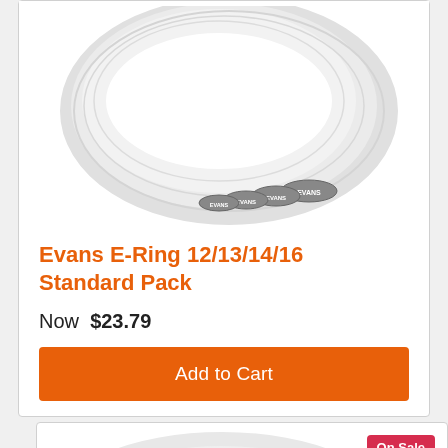[Figure (photo): Product photo of Evans E-Ring drum dampening rings stacked together, white rings with Evans logo clips, on white background]
Evans E-Ring 12/13/14/16 Standard Pack
Now  $23.79
Add to Cart
[Figure (photo): Product photo of Remo drum dampening rings (O-rings), white rings stacked, with Remo+ label, on white background. Tagged On Sale.]